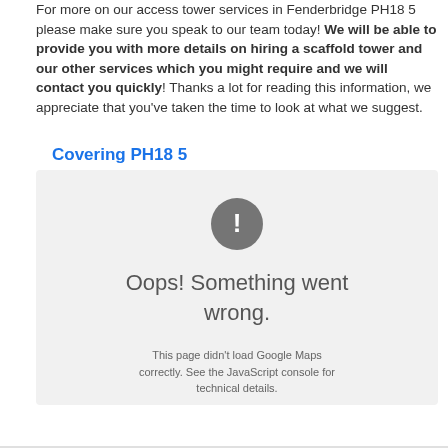For more on our access tower services in Fenderbridge PH18 5 please make sure you speak to our team today! We will be able to provide you with more details on hiring a scaffold tower and our other services which you might require and we will contact you quickly! Thanks a lot for reading this information, we appreciate that you've taken the time to look at what we suggest.
Covering PH18 5
[Figure (other): Google Maps error panel with exclamation icon and text: Oops! Something went wrong. This page didn't load Google Maps correctly. See the JavaScript console for technical details.]